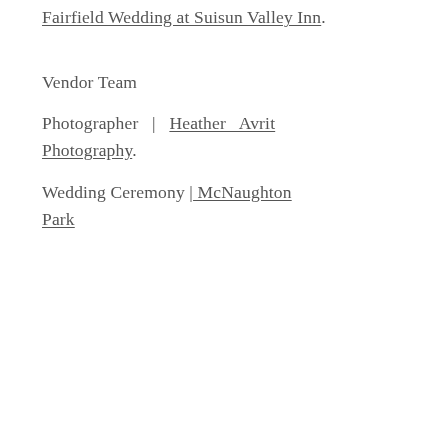Fairfield Wedding at Suisun Valley Inn.
Vendor Team
Photographer | Heather Avrit Photography.
Wedding Ceremony | McNaughton Park